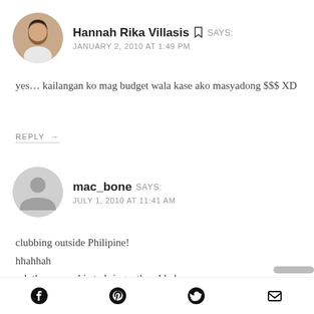Hannah Rika Villasis SAYS: JANUARY 2, 2010 AT 1:49 PM
yes… kailangan ko mag budget wala kase ako masyadong $$$ XD
REPLY →
mac_bone SAYS: JULY 1, 2010 AT 11:41 AM
clubbing outside Philipine!
hhahhah
ask the penangkia to bring u there! hehe
Facebook | Pinterest | Twitter | Email